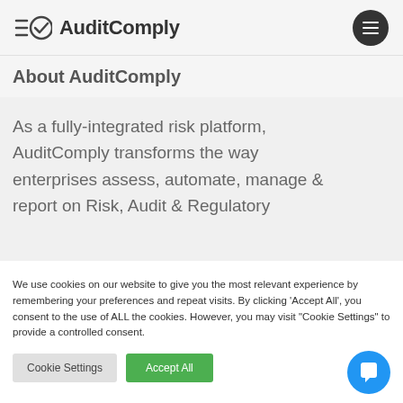AuditComply
About AuditComply
As a fully-integrated risk platform, AuditComply transforms the way enterprises assess, automate, manage & report on Risk, Audit & Regulatory
We use cookies on our website to give you the most relevant experience by remembering your preferences and repeat visits. By clicking 'Accept All', you consent to the use of ALL the cookies. However, you may visit "Cookie Settings" to provide a controlled consent.